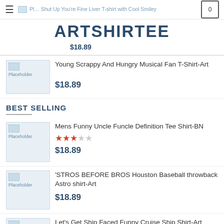ARTSHIRTEE — Shut Up You're Fine Liver T-shirt with Cool Smiley Face-Art $18.89
Young Scrappy And Hungry Musical Fan T-Shirt-Art — $18.89
BEST SELLING
Mens Funny Uncle Funcle Definition Tee Shirt-BN — Rating: 3/5 stars — $18.89
'STROS BEFORE BROS Houston Baseball throwback Astro shirt-Art — $18.89
Let's Get Ship Faced Funny Cruise Ship Shirt-Art — $18.89